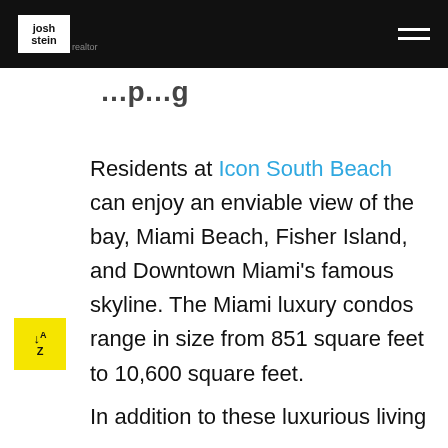josh stein realtor [logo] [hamburger menu]
…p…g…
Residents at Icon South Beach can enjoy an enviable view of the bay, Miami Beach, Fisher Island, and Downtown Miami's famous skyline. The Miami luxury condos range in size from 851 square feet to 10,600 square feet.
In addition to these luxurious living